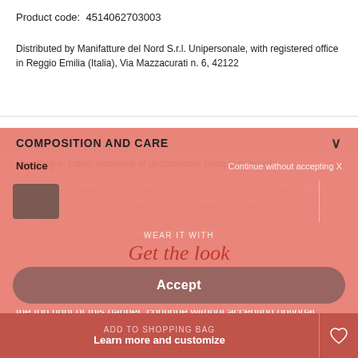Product code: 4514062703003
Distributed by Manifatture del Nord S.r.l. Unipersonale, with registered office in Reggio Emilia (Italia), Via Mazzacurati n. 6, 42122
COMPOSITION AND CARE
Handbag in cattle, exclusive of decorations; lining in polyester.
No special treatment is required to maintain our bags' appearance and functionality over time. You should always refer to a specialised centre for the cleaning of bags.
Notice

Continue without accepting X

We and selected third parties use cookies or similar technologies for technical purposes and, with your consent, for other purposes ("basic interactions & functionalities", "experience enhancement", "measurement" and "targeting & advertising"). You can give, refuse or withdraw your consent at any time

You can consent to the use of these technologies by using the "Accept" button. By closing this information by clicking on the "X" at the top right of this banner, continue without accepting optional cookies.
WEAR IT WITH
Get the look
Accept
ADD TO SHOPPING BAG
Learn more and customize